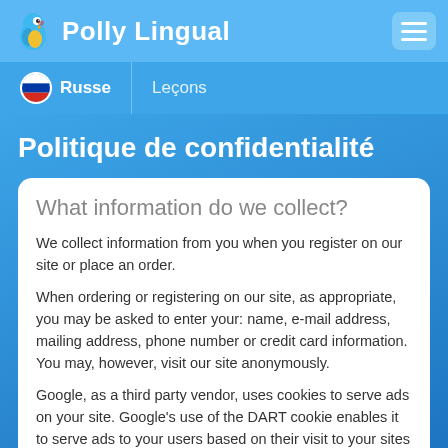Polly Lingual
Russe | Leçons
Politique de confidentialité
What information do we collect?
We collect information from you when you register on our site or place an order.
When ordering or registering on our site, as appropriate, you may be asked to enter your: name, e-mail address, mailing address, phone number or credit card information. You may, however, visit our site anonymously.
Google, as a third party vendor, uses cookies to serve ads on your site. Google's use of the DART cookie enables it to serve ads to your users based on their visit to your sites and other sites on the Internet. Users may opt out of the use of the DART cookie by